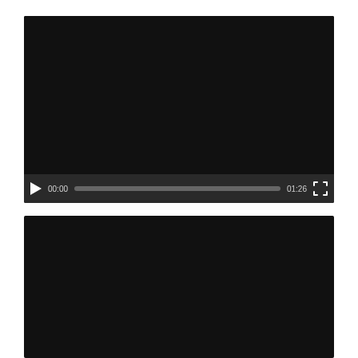[Figure (screenshot): Video player with black screen, play button showing 00:00 current time and 01:26 total duration, progress bar, and fullscreen button]
[Figure (screenshot): Second video player with black screen, partially visible, no controls visible in the cropped view]